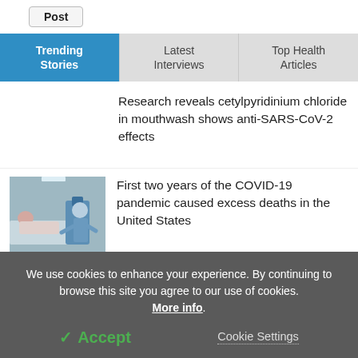Post
Trending Stories
Latest Interviews
Top Health Articles
Research reveals cetylpyridinium chloride in mouthwash shows anti-SARS-CoV-2 effects
[Figure (photo): Hospital scene with patient in bed and medical staff in protective gear]
First two years of the COVID-19 pandemic caused excess deaths in the United States
We use cookies to enhance your experience. By continuing to browse this site you agree to our use of cookies. More info.
Accept
Cookie Settings